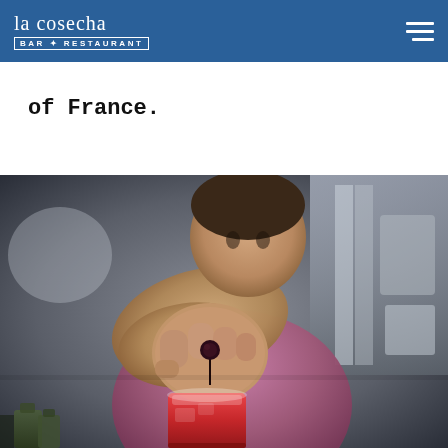la cosecha BAR + RESTAURANT
of France.
[Figure (photo): A bartender in a pink shirt reaching forward to place a dark berry garnish on a red cocktail in a glass with ice, in a bar kitchen setting.]